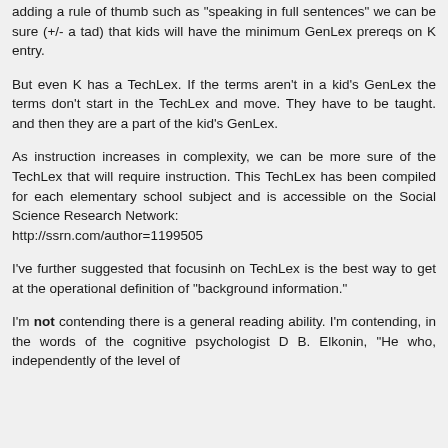adding a rule of thumb such as "speaking in full sentences" we can be sure (+/- a tad) that kids will have the minimum GenLex prereqs on K entry.
But even K has a TechLex. If the terms aren't in a kid's GenLex the terms don't start in the TechLex and move. They have to be taught. and then they are a part of the kid's GenLex.
As instruction increases in complexity, we can be more sure of the TechLex that will require instruction. This TechLex has been compiled for each elementary school subject and is accessible on the Social Science Research Network:
http://ssrn.com/author=1199505
I've further suggested that focusinh on TechLex is the best way to get at the operational definition of "background information."
I'm not contending there is a general reading ability. I'm contending, in the words of the cognitive psychologist D B. Elkonin, "He who, independently of the level of